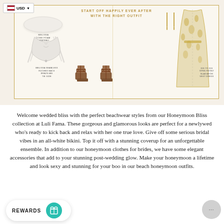[Figure (photo): Catalog-style fashion lookbook image showing a white bandeau top, white tie bikini bottom, tan strappy block-heel sandals, gold drop earrings, and a gold/white floral open-front vest dress against a cream background with gold border frame. Text reads 'START OFF HAPPILY EVER AFTER WITH THE RIGHT OUTFIT'.]
Welcome wedded bliss with the perfect beachwear styles from our Honeymoon Bliss collection at Luli Fama. These gorgeous and glamorous looks are perfect for a newlywed who’s ready to kick back and relax with her one true love. Give off some serious bridal vibes in an all-white bikini. Top it off with a stunning coverup for an unforgettable ensemble. In addition to our honeymoon clothes for brides, we have some elegant accessories that add to your stunning post-wedding glow. Make your honeymoon a lifetime and look sexy and stunning for your boo in our beach honeymoon outfits.